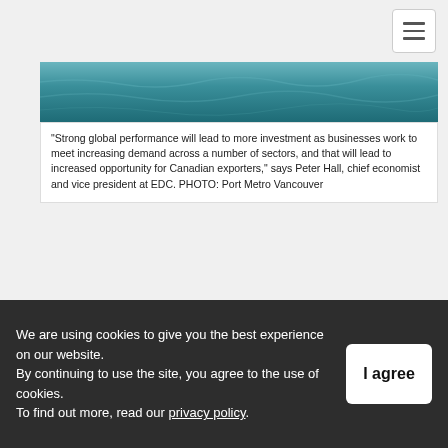[Figure (photo): Aerial or close view of ocean water with blue-green waves]
“Strong global performance will lead to more investment as businesses work to meet increasing demand across a number of sectors, and that will lead to increased opportunity for Canadian exporters,” says Peter Hall, chief economist and vice president at EDC. PHOTO: Port Metro Vancouver
OTTAWA—The spectre of global protectionism is real and concerning, but times are good for Canadian exporters, according to Export Development Canada.
In its latest semi-annual Global Export Forecast, the
We are using cookies to give you the best experience on our website.
By continuing to use the site, you agree to the use of cookies.
To find out more, read our privacy policy.